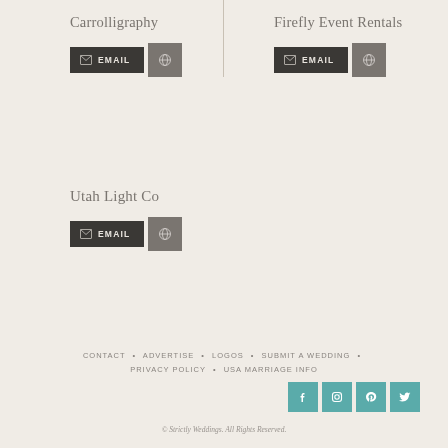Carrolligraphy
Firefly Event Rentals
Utah Light Co
CONTACT • ADVERTISE • LOGOS • SUBMIT A WEDDING • PRIVACY POLICY • USA MARRIAGE INFO
© Strictly Weddings. All Rights Reserved.